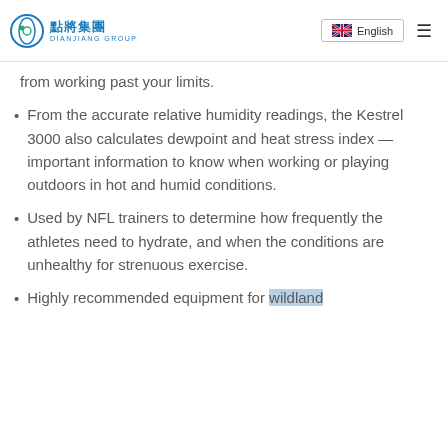Dianjiang Group — English
from working past your limits.
From the accurate relative humidity readings, the Kestrel 3000 also calculates dewpoint and heat stress index —important information to know when working or playing outdoors in hot and humid conditions.
Used by NFL trainers to determine how frequently the athletes need to hydrate, and when the conditions are unhealthy for strenuous exercise.
Highly recommended equipment for wildland